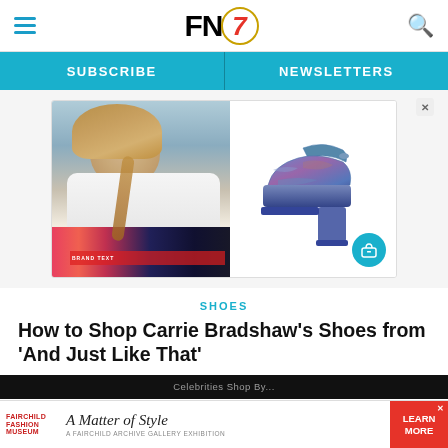FN7 — Navigation bar with hamburger menu, FN7 logo, and search icon
SUBSCRIBE | NEWSLETTERS
[Figure (photo): Collage of Sarah Jessica Parker in white shirt with colorful skirt on left, and a blue/multicolor platform high-heel sandal on right with teal shopping bag icon]
SHOES
How to Shop Carrie Bradshaw's Shoes from 'And Just Like That'
Fairchild Fashion Museum — A Matter of Style — A Fairchild Archive Gallery Exhibition — LEARN MORE